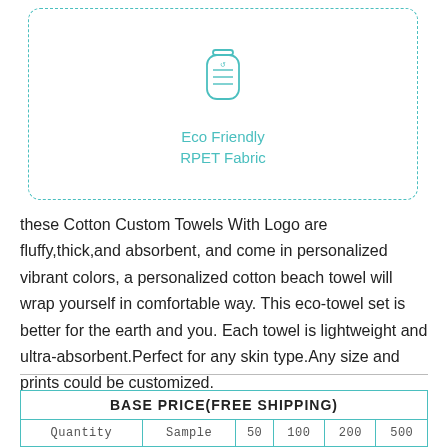[Figure (illustration): Eco Friendly RPET Fabric icon inside a dashed rounded rectangle border. Shows a water bottle icon in teal/turquoise color with text 'Eco Friendly' and 'RPET Fabric' below it.]
these Cotton Custom Towels With Logo are fluffy,thick,and absorbent, and come in personalized vibrant colors, a personalized cotton beach towel will wrap yourself in comfortable way. This eco-towel set is better for the earth and you. Each towel is lightweight and ultra-absorbent.Perfect for any skin type.Any size and prints could be customized.
| BASE PRICE(FREE SHIPPING) |
| --- |
| Quantity | Sample | 50 | 100 | 200 | 500 |